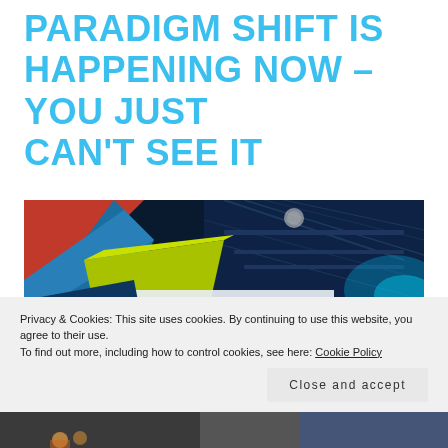PARADIGM SHIFT IS HAPPENING NOW – YOU JUST CAN'T SEE IT
[Figure (photo): Photo of a conference/exhibition hall interior showing colorful geometric shapes on display panels (red, blue, green, white triangles) with ceiling rigging, lighting, and partial text 'Em...' visible on a white panel]
Privacy & Cookies: This site uses cookies. By continuing to use this website, you agree to their use.
To find out more, including how to control cookies, see here: Cookie Policy
Close and accept
[Figure (photo): Partial bottom strip showing another photo below the cookie banner]